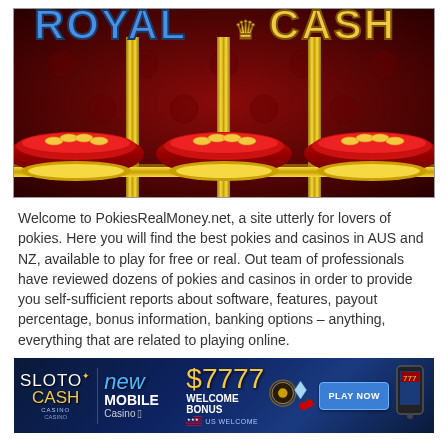[Figure (illustration): Royal Cash slot machine game banner with red tufted background, gold pillars, velvet cushions with coins, and Royal Cash logo in blue and gold text]
Welcome to PokiesRealMoney.net, a site utterly for lovers of pokies. Here you will find the best pokies and casinos in AUS and NZ, available to play for free or real. Out team of professionals have reviewed dozens of pokies and casinos in order to provide you self-sufficient reports about software, features, payout percentage, bonus information, banking options – anything, everything that are related to playing online.
[Figure (illustration): Sloto Cash Casino advertisement banner: new mobile casino, $7777 welcome bonus, US welcome, play now button]